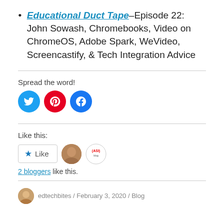Educational Duct Tape–Episode 22: John Sowash, Chromebooks, Video on ChromeOS, Adobe Spark, WeVideo, Screencastify, & Tech Integration Advice
Spread the word!
[Figure (other): Social sharing icons: Twitter (blue circle), Pinterest (red circle), Facebook (blue circle)]
Like this:
[Figure (other): Like button widget with star icon and text 'Like', two avatar images of bloggers who liked]
2 bloggers like this.
edtechbites / February 3, 2020 / Blog